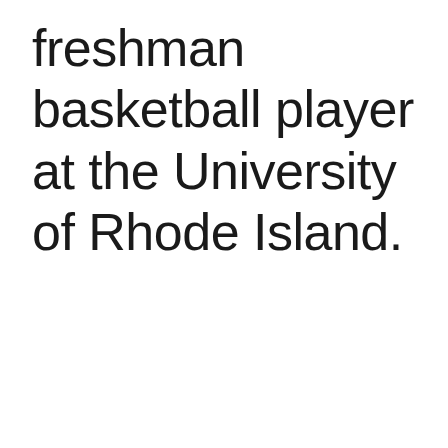freshman basketball player at the University of Rhode Island.